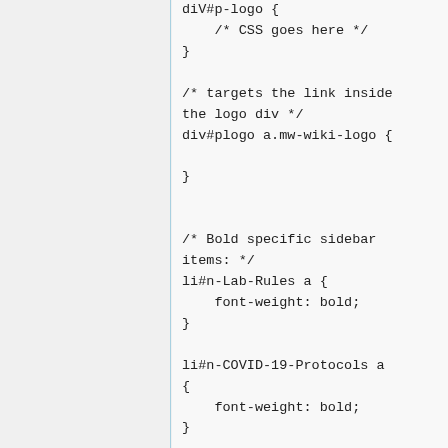diV#p-logo {
    /* CSS goes here */
}

/* targets the link inside the logo div */
div#plogo a.mw-wiki-logo {

}


/* Bold specific sidebar items: */
li#n-Lab-Rules a {
    font-weight: bold;
}

li#n-COVID-19-Protocols a {
    font-weight: bold;
}



/*------------------------